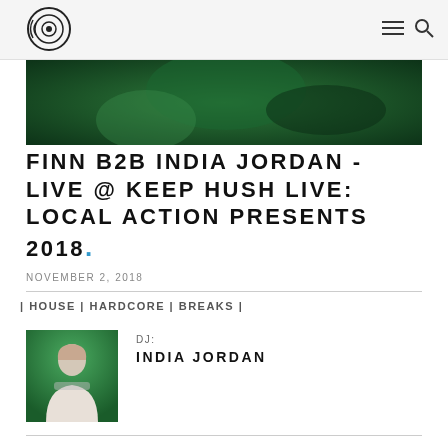DJ logo / navigation header
[Figure (photo): Green-tinted banner image with dark green abstract background]
FINN B2B INDIA JORDAN - LIVE @ KEEP HUSH LIVE: LOCAL ACTION PRESENTS 2018.
NOVEMBER 2, 2018
| HOUSE | HARDCORE | BREAKS |
DJ: INDIA JORDAN
[Figure (photo): Photo of India Jordan, a person in a white top against a green backdrop]